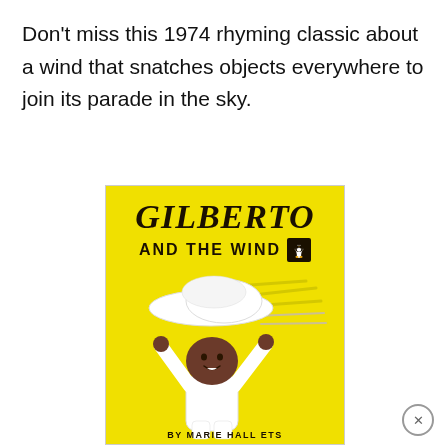Don't miss this 1974 rhyming classic about a wind that snatches objects everywhere to join its parade in the sky.
[Figure (illustration): Book cover of 'Gilberto and the Wind' by Marie Hall Ets. Yellow background with a child holding on to a large white hat being blown by the wind. Text reads GILBERTO AND THE WIND with a Penguin publisher logo. Author: BY MARIE HALL ETS.]